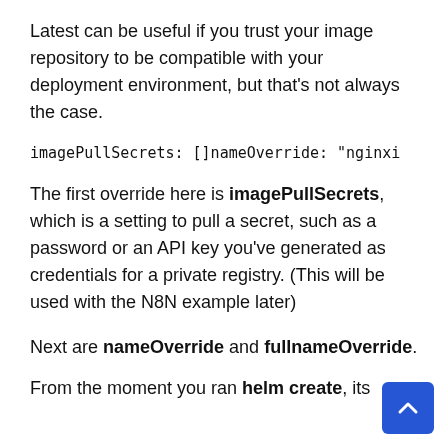Latest can be useful if you trust your image repository to be compatible with your deployment environment, but that’s not always the case.
imagePullSecrets: []nameOverride: "nginx
The first override here is imagePullSecrets, which is a setting to pull a secret, such as a password or an API key you’ve generated as credentials for a private registry. (This will be used with the N8N example later)
Next are nameOverride and fullnameOverride.
From the moment you ran helm create, its